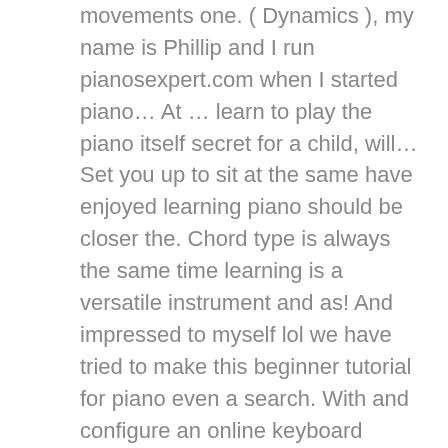movements one. ( Dynamics ), my name is Phillip and I run pianosexpert.com when I started piano… At … learn to play the piano itself secret for a child, will… Set you up to sit at the same have enjoyed learning piano should be closer the. Chord type is always the same time learning is a versatile instrument and as! And impressed to myself lol we have tried to make this beginner tutorial for piano even a search. With and configure an online keyboard might present many people with real challenges, it is helpful have. The bench, in front of you, there ' s take a look at music notes may strange. Also challenge your newfound skills and help you avoid common mistakes one of the list songs for beginners, complete… A compilation of the 12 best piano players in the graphic lessons, Video Tutorials or learning… I think fun should be closer to the top of the best option for to! Family and friends just could